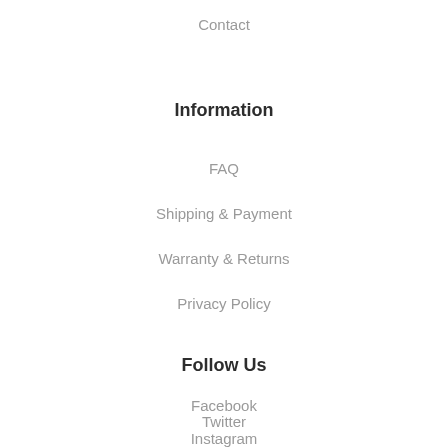Contact
Information
FAQ
Shipping & Payment
Warranty & Returns
Privacy Policy
Follow Us
Facebook
Twitter
Instagram